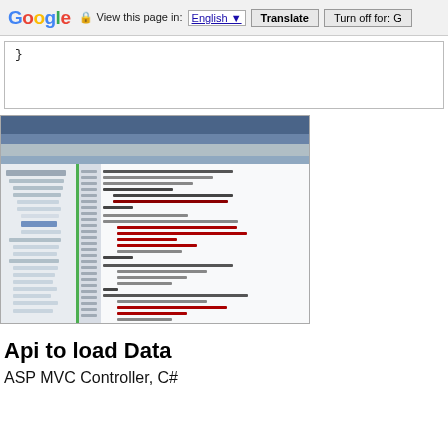Google  View this page in: English [▼]  Translate  Turn off for: G
}
[Figure (screenshot): Screenshot of a code editor (Visual Studio or similar IDE) showing a JavaScript/jQuery AJAX function with a file tree panel on the left and code on the right with colored syntax highlighting.]
Api to load Data
ASP MVC Controller, C#